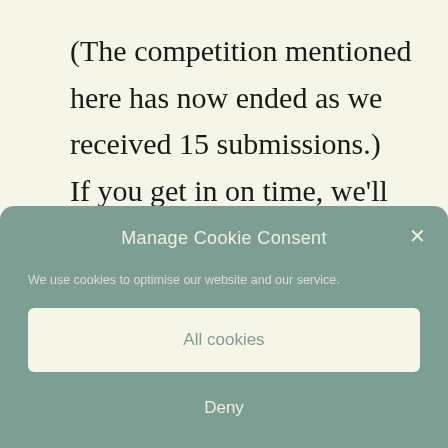(The competition mentioned here has now ended as we received 15 submissions.)
If you get in on time, we'll send you a couple of
Manage Cookie Consent
We use cookies to optimise our website and our service.
All cookies
Deny